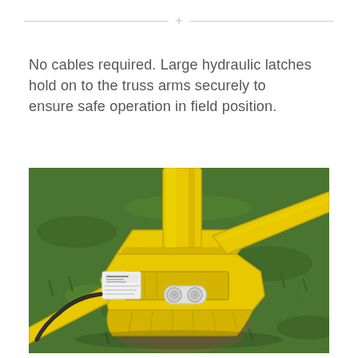+
No cables required. Large hydraulic latches hold on to the truss arms securely to ensure safe operation in field position.
[Figure (photo): Close-up photograph of a yellow hydraulic latch mechanism gripping truss arms on a grass/dirt surface. The yellow metal components show a large latch clamping around a vertical yellow post and angled arm, with hydraulic fittings and a small label plate visible.]